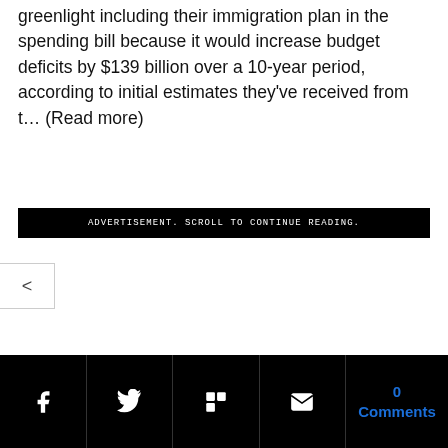greenlight including their immigration plan in the spending bill because it would increase budget deficits by $139 billion over a 10-year period, according to initial estimates they've received from t… (Read more)
ADVERTISEMENT. SCROLL TO CONTINUE READING.
[Figure (other): Navigation back arrow button on left edge]
Facebook  Twitter  Flipboard  Email  0 Comments